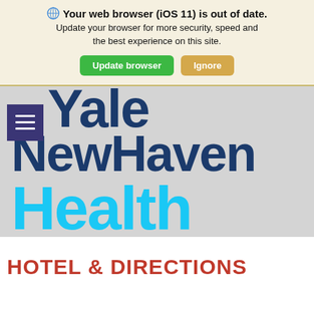[Figure (screenshot): Browser update notification banner with globe icon, bold title 'Your web browser (iOS 11) is out of date.', subtitle text, and two buttons: green 'Update browser' and orange 'Ignore']
[Figure (logo): Yale New Haven Health logo on gray background with dark blue 'Yale NewHaven' text and cyan 'Health' text, with hamburger menu icon in dark purple]
HOTEL & DIRECTIONS